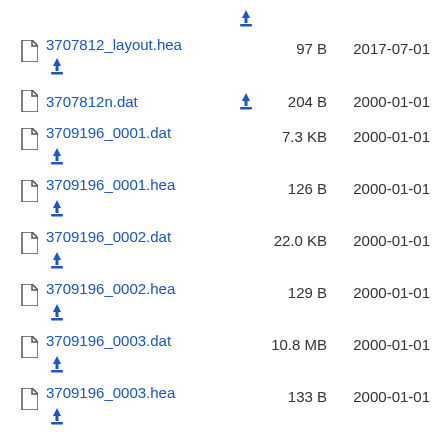3707812_layout.hea  97 B  2017-07-01
3707812n.dat  204 B  2000-01-01
3709196_0001.dat  7.3 KB  2000-01-01
3709196_0001.hea  126 B  2000-01-01
3709196_0002.dat  22.0 KB  2000-01-01
3709196_0002.hea  129 B  2000-01-01
3709196_0003.dat  10.8 MB  2000-01-01
3709196_0003.hea  133 B  2000-01-01